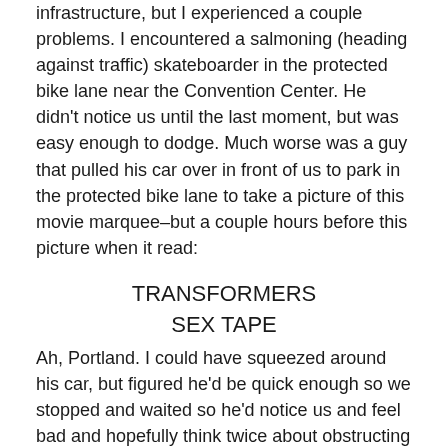infrastructure, but I experienced a couple problems. I encountered a salmoning (heading against traffic) skateboarder in the protected bike lane near the Convention Center. He didn't notice us until the last moment, but was easy enough to dodge. Much worse was a guy that pulled his car over in front of us to park in the protected bike lane to take a picture of this movie marquee–but a couple hours before this picture when it read:
TRANSFORMERS
SEX TAPE
Ah, Portland. I could have squeezed around his car, but figured he'd be quick enough so we stopped and waited so he'd notice us and feel bad and hopefully think twice about obstructing a bike lane in the future. Bringing a bit of the passive-aggressive Seattle style to town.